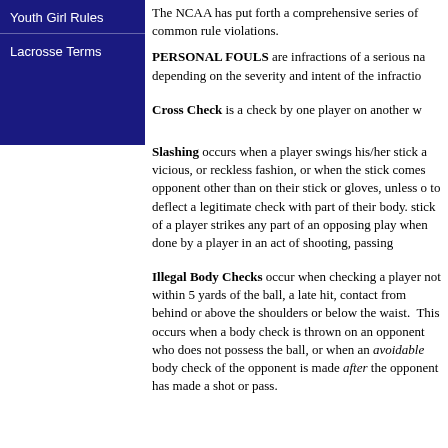Youth Girl Rules
Lacrosse Terms
The NCAA has put forth a comprehensive series of common rule violations.
PERSONAL FOULS are infractions of a serious nature depending on the severity and intent of the infraction.
Cross Check is a check by one player on another w...
Slashing occurs when a player swings his/her stick a vicious, or reckless fashion, or when the stick comes opponent other than on their stick or gloves, unless o to deflect a legitimate check with part of their body. stick of a player strikes any part of an opposing play when done by a player in an act of shooting, passing...
Illegal Body Checks occur when checking a player not within 5 yards of the ball, a late hit, contact from behind or above the shoulders or below the waist. This occurs when a body check is thrown on an opponent who does not possess the ball, or when an avoidable body check of the opponent is made after the opponent has made a shot or pass.